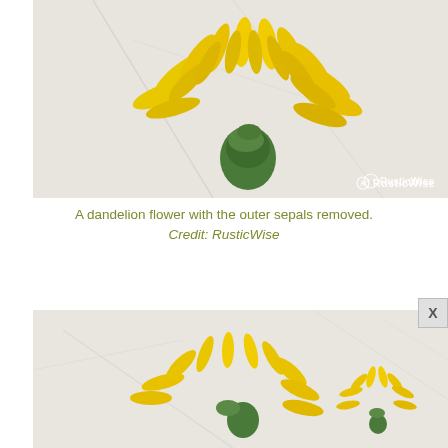[Figure (photo): A yellow dandelion flower with outer sepals removed, photographed on a white marble surface. The flower head shows dense yellow petals fanning out from a green base. Watermark 'RusticWise' visible in bottom right corner.]
A dandelion flower with the outer sepals removed.
Credit: RusticWise
[Figure (photo): Partial view of dandelion flowers on a white marble surface, showing yellow flower heads at various stages. Two flowers visible on the left side and a smaller one on the right. Image is cropped at the bottom of the page.]